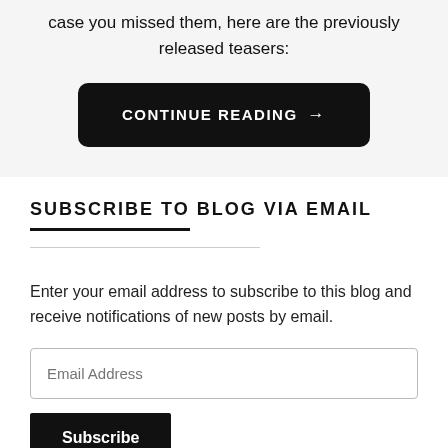case you missed them, here are the previously released teasers:
CONTINUE READING →
SUBSCRIBE TO BLOG VIA EMAIL
Enter your email address to subscribe to this blog and receive notifications of new posts by email.
Email Address
Subscribe